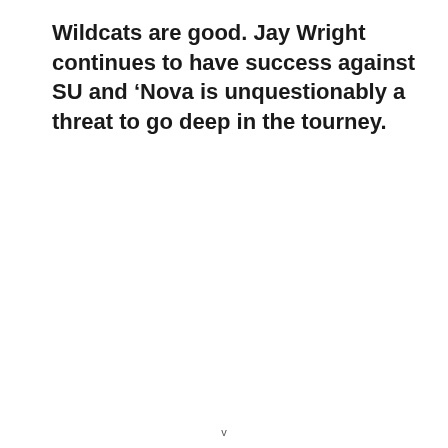Wildcats are good. Jay Wright continues to have success against SU and ‘Nova is unquestionably a threat to go deep in the tourney.
v